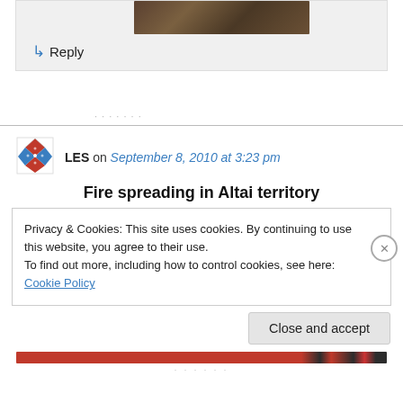[Figure (photo): Dark colored horse image cropped at top, brownish-dark tones]
↳ Reply
[Figure (logo): Red and blue geometric diamond/cross avatar icon for user LES]
LES on September 8, 2010 at 3:23 pm
Fire spreading in Altai territory
Privacy & Cookies: This site uses cookies. By continuing to use this website, you agree to their use.
To find out more, including how to control cookies, see here: Cookie Policy
Close and accept